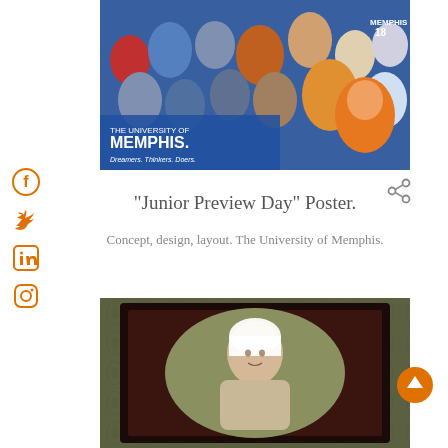[Figure (photo): University of Memphis 'Junior Preview Day' poster showing a collage of students, faculty, mascot, and athletes with text 'The University of Memphis. Dreamers. Thinkers. Doers.']
[Figure (illustration): Share icon (three connected circles)]
"Junior Preview Day" Poster.
Concept, design, layout. The University of Memphis.
[Figure (photo): Framed portrait photograph of a woman wearing a white head covering, set against a green background with dark ornate frame, in a portrait gallery style setting.]
[Figure (illustration): Orange circular scroll-to-top button with upward arrow]
[Figure (illustration): Social media icons: Facebook, Twitter, LinkedIn, Instagram — orange colored on left side of page]